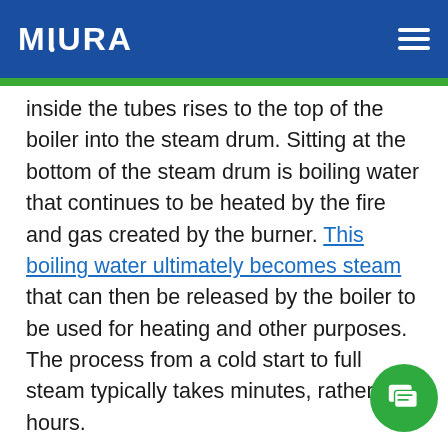MIURA
inside the tubes rises to the top of the boiler into the steam drum. Sitting at the bottom of the steam drum is boiling water that continues to be heated by the fire and gas created by the burner. This boiling water ultimately becomes steam that can then be released by the boiler to be used for heating and other purposes. The process from a cold start to full steam typically takes minutes, rather than hours.